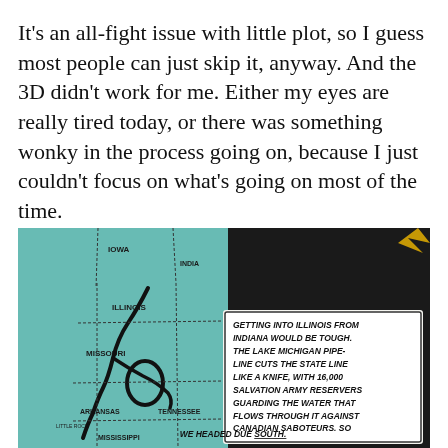It's an all-fight issue with little plot, so I guess most people can just skip it, anyway. And the 3D didn't work for me. Either my eyes are really tired today, or there was something wonky in the process going on, because I just couldn't focus on what's going on most of the time.
[Figure (photo): A comic book panel showing a map of US Midwest states (Iowa, Indiana, Illinois, Missouri, Arkansas, Tennessee, Mississippi) with a speech bubble text: 'GETTING INTO ILLINOIS FROM INDIANA WOULD BE TOUGH. THE LAKE MICHIGAN PIPELINE CUTS THE STATE LINE LIKE A KNIFE, WITH 16,000 SALVATION ARMY RESERVERS GUARDING THE WATER THAT FLOWS THROUGH IT AGAINST CANADIAN SABOTEURS. SO WE HEADED DUE SOUTH.']